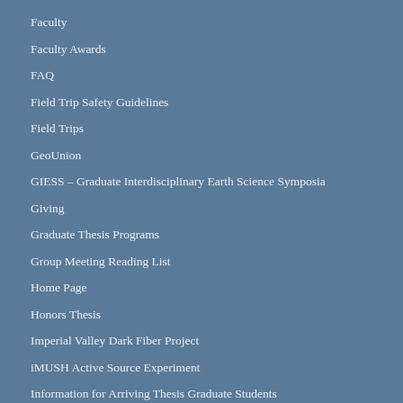Faculty
Faculty Awards
FAQ
Field Trip Safety Guidelines
Field Trips
GeoUnion
GIESS – Graduate Interdisciplinary Earth Science Symposia
Giving
Graduate Thesis Programs
Group Meeting Reading List
Home Page
Honors Thesis
Imperial Valley Dark Fiber Project
iMUSH Active Source Experiment
Information for Arriving Thesis Graduate Students
IRESS
IRESS – Homepage for graduate students...